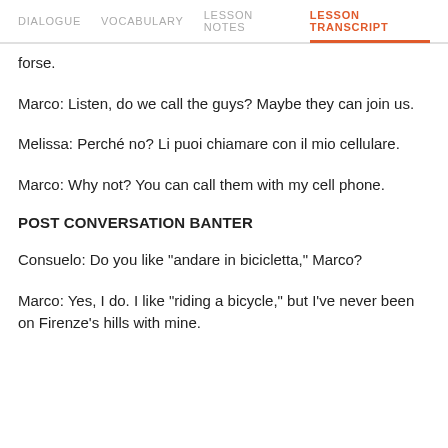DIALOGUE   VOCABULARY   LESSON NOTES   LESSON TRANSCRIPT
forse.
Marco: Listen, do we call the guys? Maybe they can join us.
Melissa: Perché no? Li puoi chiamare con il mio cellulare.
Marco: Why not? You can call them with my cell phone.
POST CONVERSATION BANTER
Consuelo: Do you like "andare in bicicletta," Marco?
Marco: Yes, I do. I like "riding a bicycle," but I've never been on Firenze's hills with mine.